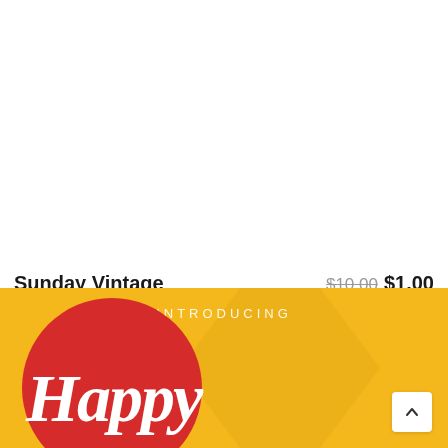Sunday Vintage
$10.00 $1.00
by PidcoArt in $1 Deals, Fonts
☆ ☆ ☆ ☆ ☆
[Figure (illustration): Yellow banner with text INTRODUCING and partial script text 'Happy' in white on a red circle, with a back-to-top arrow button]